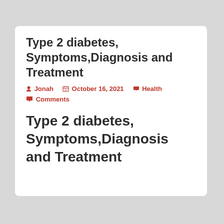Type 2 diabetes, Symptoms,Diagnosis and Treatment
Jonah  October 16, 2021  Health  Comments
Type 2 diabetes, Symptoms,Diagnosis and Treatment